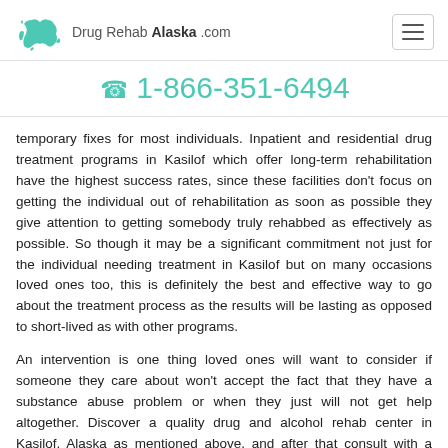Drug Rehab Alaska .com
1-866-351-6494
temporary fixes for most individuals. Inpatient and residential drug treatment programs in Kasilof which offer long-term rehabilitation have the highest success rates, since these facilities don't focus on getting the individual out of rehabilitation as soon as possible they give attention to getting somebody truly rehabbed as effectively as possible. So though it may be a significant commitment not just for the individual needing treatment in Kasilof but on many occasions loved ones too, this is definitely the best and effective way to go about the treatment process as the results will be lasting as opposed to short-lived as with other programs.
An intervention is one thing loved ones will want to consider if someone they care about won't accept the fact that they have a substance abuse problem or when they just will not get help altogether. Discover a quality drug and alcohol rehab center in Kasilof, Alaska as mentioned above, and after that consult with a professional rehab counselor there who is able to get the intervention process started immediately.